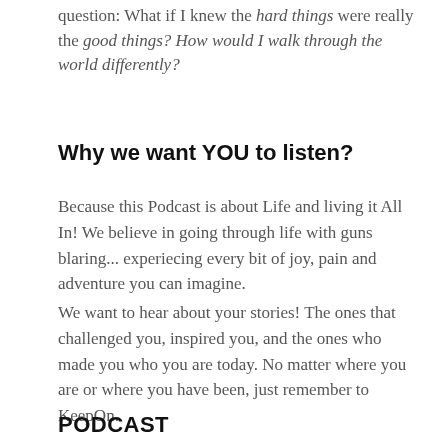question:  What if I knew the hard things were really the good things?  How would I walk through the world differently?
Why we want YOU to listen?
Because this Podcast is about Life and living it All In!  We believe in going through life with guns blaring... experiecing every bit of joy, pain and adventure you can imagine.
We want to hear about your stories!  The ones that challenged you, inspired you, and the ones who made you who you are today.  No matter where you are or where you have been, just remember to KeepOn.
PODCAST